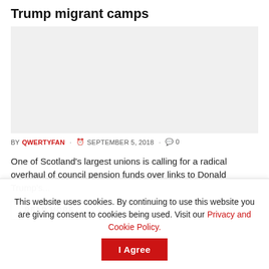Trump migrant camps
[Figure (photo): Image placeholder for article about Trump migrant camps — light gray rectangular image area]
BY QWERTYFAN · SEPTEMBER 5, 2018 · 0
One of Scotland's largest unions is calling for a radical overhaul of council pension funds over links to Donald Trump's...
READ MORE
This website uses cookies. By continuing to use this website you are giving consent to cookies being used. Visit our Privacy and Cookie Policy.
I Agree